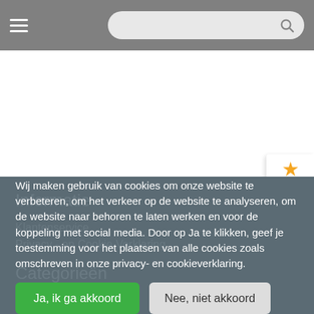Navigation header with hamburger menu and search bar
[Figure (other): Rating badge showing a gold star and score 8.8, with a blue share button below]
Informatie
Klantenservice
Privacy - en Cookie Verklaring
Categorieën
Wij maken gebruik van cookies om onze website te verbeteren, om het verkeer op de website te analyseren, om de website naar behoren te laten werken en voor de koppeling met social media. Door op Ja te klikken, geef je toestemming voor het plaatsen van alle cookies zoals omschreven in onze privacy- en cookieverklaring.
Ja, ik ga akkoord | Nee, niet akkoord